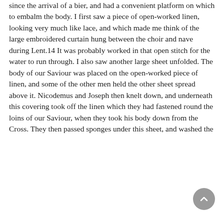since the arrival of a bier, and had a convenient platform on which to embalm the body. I first saw a piece of open-worked linen, looking very much like lace, and which made me think of the large embroidered curtain hung between the choir and nave during Lent.14 It was probably worked in that open stitch for the water to run through. I also saw another large sheet unfolded. The body of our Saviour was placed on the open-worked piece of linen, and some of the other men held the other sheet spread above it. Nicodemus and Joseph then knelt down, and underneath this covering took off the linen which they had fastened round the loins of our Saviour, when they took his body down from the Cross. They then passed sponges under this sheet, and washed the